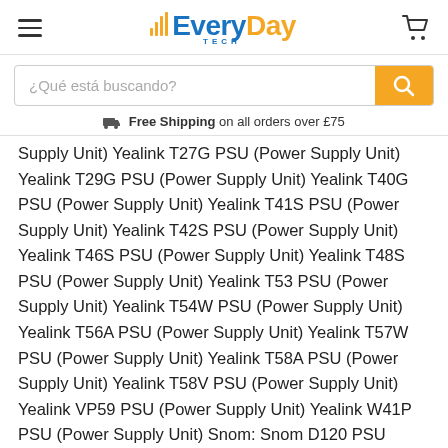[Figure (logo): EveryDay Tech logo with hamburger menu and cart icon in header]
¿Qué está buscando?
Free Shipping on all orders over £75
Supply Unit) Yealink T27G PSU (Power Supply Unit) Yealink T29G PSU (Power Supply Unit) Yealink T40G PSU (Power Supply Unit) Yealink T41S PSU (Power Supply Unit) Yealink T42S PSU (Power Supply Unit) Yealink T46S PSU (Power Supply Unit) Yealink T48S PSU (Power Supply Unit) Yealink T53 PSU (Power Supply Unit) Yealink T54W PSU (Power Supply Unit) Yealink T56A PSU (Power Supply Unit) Yealink T57W PSU (Power Supply Unit) Yealink T58A PSU (Power Supply Unit) Yealink T58V PSU (Power Supply Unit) Yealink VP59 PSU (Power Supply Unit) Yealink W41P PSU (Power Supply Unit) Snom: Snom D120 PSU (Power Supply Unit) Snom D315 PSU (Power Supply Unit) Snom D345 PSU (Power Supply Unit) Snom D375 PSU (Power Supply